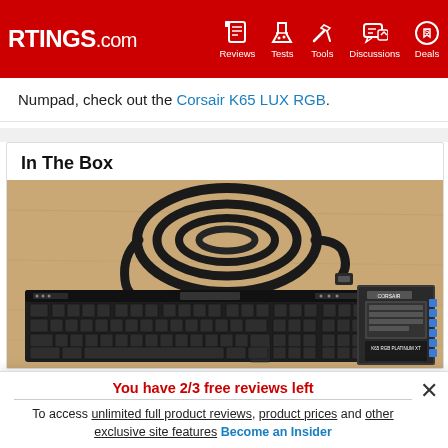RTINGS.com — Reviews, Tests, Tools, Discussions, Deals
Numpad, check out the Corsair K65 LUX RGB.
In The Box
[Figure (photo): Photo of keyboard box contents: a black USB cable coiled on a wooden surface, a full-size black Corsair mechanical keyboard, and the product box showing the K65 RGB PLATINUM XT keyboard.]
You have 2/3 free reviews left
To access unlimited full product reviews, product prices and other exclusive site features Become an Insider